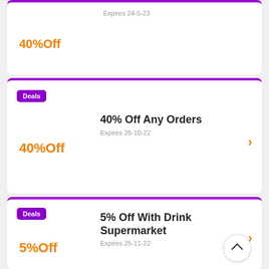Expires 24-5-23
Deals
40%Off
40% Off Any Orders
Expires 26-10-22
Deals
5%Off
5% Off With Drink Supermarket
Expires 25-11-22